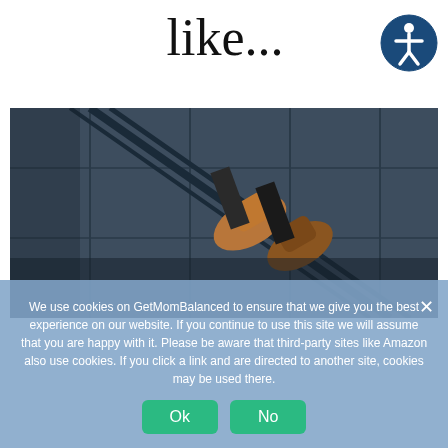like...
[Figure (photo): Person's feet and legs visible on an industrial metal staircase or fire escape, wearing brown leather boots, dark background of metal panels]
We use cookies on GetMomBalanced to ensure that we give you the best experience on our website. If you continue to use this site we will assume that you are happy with it. Please be aware that third-party sites like Amazon also use cookies. If you click a link and are directed to another site, cookies may be used there.
Ok
No